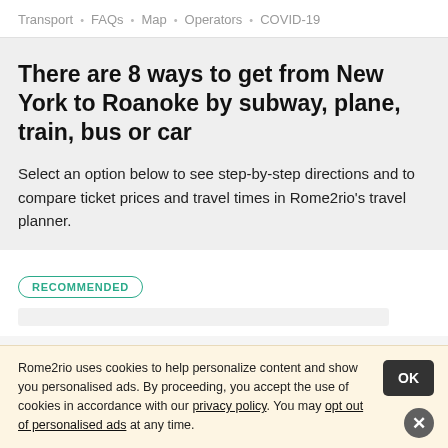Transport · FAQs · Map · Operators · COVID-19
There are 8 ways to get from New York to Roanoke by subway, plane, train, bus or car
Select an option below to see step-by-step directions and to compare ticket prices and travel times in Rome2rio's travel planner.
RECOMMENDED
Rome2rio uses cookies to help personalize content and show you personalised ads. By proceeding, you accept the use of cookies in accordance with our privacy policy. You may opt out of personalised ads at any time.